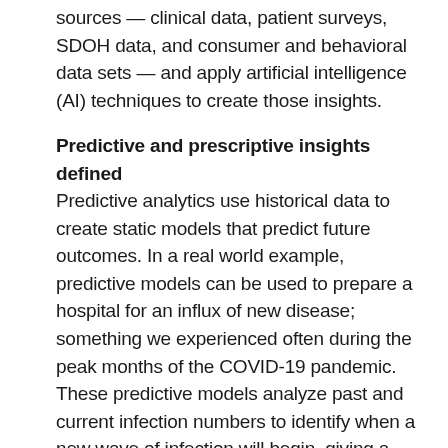sources — clinical data, patient surveys, SDOH data, and consumer and behavioral data sets — and apply artificial intelligence (AI) techniques to create those insights.
Predictive and prescriptive insights defined
Predictive analytics use historical data to create static models that predict future outcomes. In a real world example, predictive models can be used to prepare a hospital for an influx of new disease; something we experienced often during the peak months of the COVID-19 pandemic. These predictive models analyze past and current infection numbers to identify when a new wave of infection will begin, giving a hospital system a head start to prepare with adequate PPE, staffing plans and protocols.
Arguably the most important aspect of using